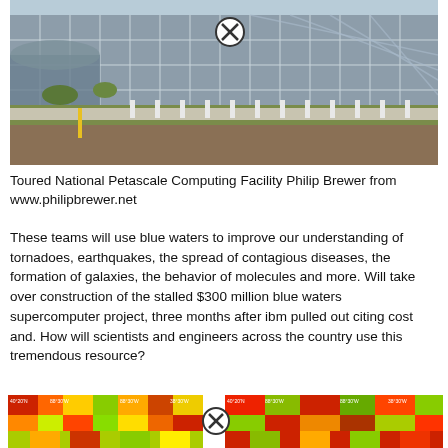[Figure (photo): Exterior photo of the National Petascale Computing Facility building, a modern glass and steel structure with green lawn in the foreground and bollards along the walkway.]
Toured National Petascale Computing Facility Philip Brewer from www.philipbrewer.net
These teams will use blue waters to improve our understanding of tornadoes, earthquakes, the spread of contagious diseases, the formation of galaxies, the behavior of molecules and more. Will take over construction of the stalled $300 million blue waters supercomputer project, three months after ibm pulled out citing cost and. How will scientists and engineers across the country use this tremendous resource?
[Figure (map): Two side-by-side color maps (left and right) showing geographic data with red, orange, yellow, and green color coding, with coordinate labels along the edges.]